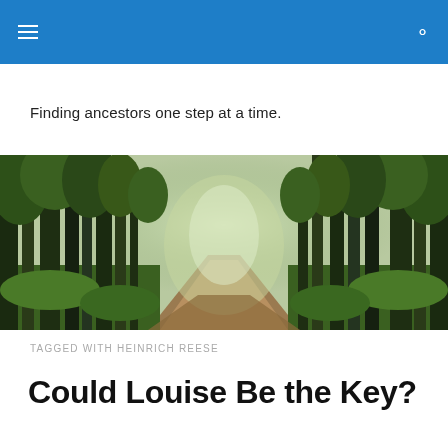Finding ancestors one step at a time.
[Figure (photo): A forest path lined with tall green trees, with light filtering through the canopy, extending into the misty distance. Autumn leaves cover the ground.]
TAGGED WITH HEINRICH REESE
Could Louise Be the Key?